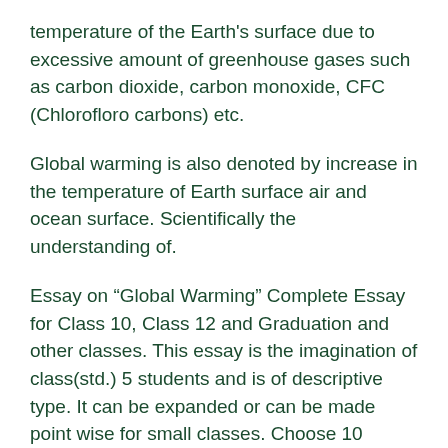temperature of the Earth's surface due to excessive amount of greenhouse gases such as carbon dioxide, carbon monoxide, CFC (Chlorofloro carbons) etc.
Global warming is also denoted by increase in the temperature of Earth surface air and ocean surface. Scientifically the understanding of.
Essay on “Global Warming” Complete Essay for Class 10, Class 12 and Graduation and other classes. This essay is the imagination of class(std.) 5 students and is of descriptive type. It can be expanded or can be made point wise for small classes. Choose 10 points from this to make point wise essay.
Global warming in class essay
Rated 5/5 based on 37 review